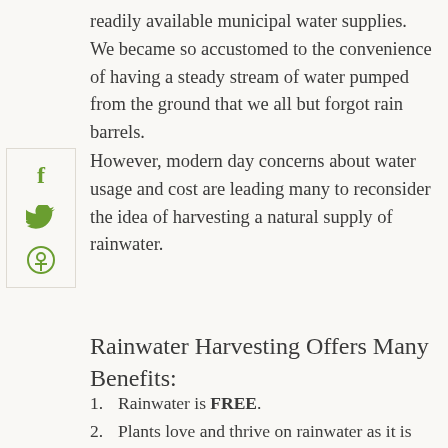readily available municipal water supplies. We became so accustomed to the convenience of having a steady stream of water pumped from the ground that we all but forgot rain barrels.
However, modern day concerns about water usage and cost are leading many to reconsider the idea of harvesting a natural supply of rainwater.
Rainwater Harvesting Offers Many Benefits:
Rainwater is FREE.
Plants love and thrive on rainwater as it is free of fluoride and chlorine, which are used in municipal water.
Reduces storm drainage load and flooding.